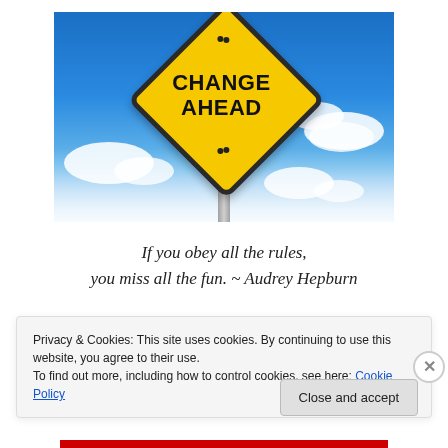[Figure (photo): A yellow diamond-shaped road sign reading 'CHANGE AHEAD' on a grey pole against a bright blue sky with white clouds]
If you obey all the rules, you miss all the fun. ~ Audrey Hepburn
Privacy & Cookies: This site uses cookies. By continuing to use this website, you agree to their use.
To find out more, including how to control cookies, see here: Cookie Policy